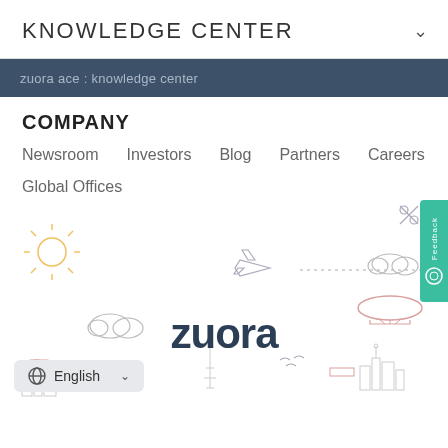KNOWLEDGE CENTER
zuora ace : knowledge center
COMPANY
Newsroom
Investors
Blog
Partners
Careers
Global Offices
[Figure (illustration): Zuora website screenshot showing a world map illustration with city skylines, an airplane, sun, clouds, and a blimp. The Zuora logo is centered in dark navy text. A teal Feedback tab appears on the right edge. A language selector showing English is at the bottom left.]